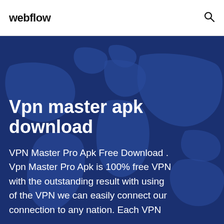webflow
[Figure (illustration): Dark blue world map silhouette on a dark navy background, serving as a hero section background image.]
Vpn master apk download
VPN Master Pro Apk Free Download . Vpn Master Pro Apk is 100% free VPN with the outstanding result with using of the VPN we can easily connect our connection to any nation. Each VPN